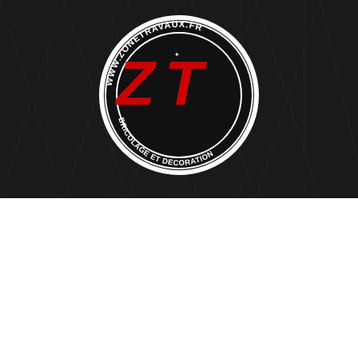[Figure (logo): ZoneTravaux.fr logo — a circular badge with white text 'WWW.ZONETRAVAUX.FR' around the rim and 'BRICOLAGE ET DECORATION' at the bottom, featuring large red stylized 'ZT' letters in the center, on a dark background]
Pour vous apporter une meilleure expérience de navigation, nous utilisons des cookies. En cliquant sur "Ok pour moi !" vous consentez à l'utilisation de tous les cookies. Vous pouvez régler vos préférences de cookies dans "Régler mes préférences".